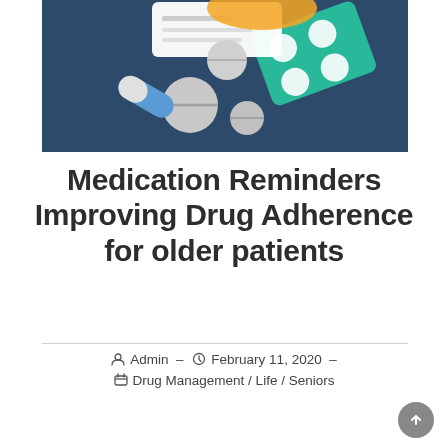[Figure (illustration): Illustration of pills, capsules, and a blister pack of medication on a dark navy/teal background]
Medication Reminders Improving Drug Adherence for older patients
Admin – February 11, 2020 – Drug Management / Life / Seniors